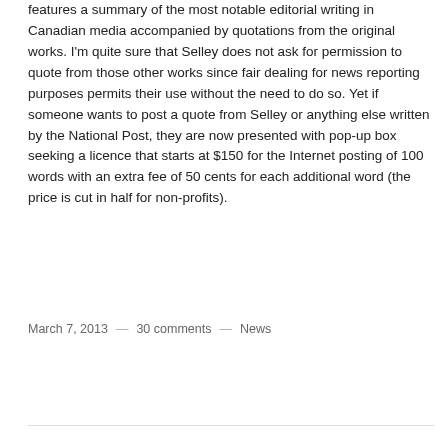much needed Fire Ron Wilson campaign). The Fair Pundit features a summary of the most notable editorial writing in Canadian media accompanied by quotations from the original works. I'm quite sure that Selley does not ask for permission to quote from those other works since fair dealing for news reporting purposes permits their use without the need to do so. Yet if someone wants to post a quote from Selley or anything else written by the National Post, they are now presented with pop-up box seeking a licence that starts at $150 for the Internet posting of 100 words with an extra fee of 50 cents for each additional word (the price is cut in half for non-profits).
Read more ›
March 7, 2013 — 30 comments — News